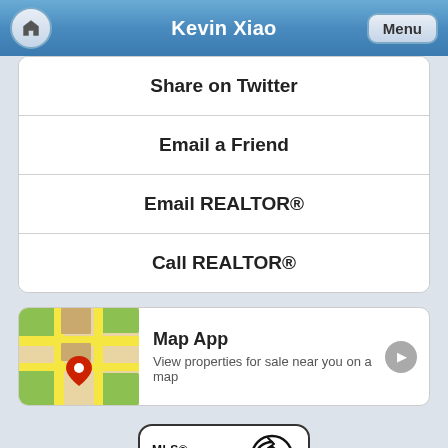Kevin Xiao
Share on Twitter
Email a Friend
Email REALTOR®
Call REALTOR®
[Figure (screenshot): Map App card with map thumbnail showing streets and a red location pin. Text reads: Map App — View properties for sale near you on a map]
[Figure (logo): MLS® Reciprocity logo — circular arrow icon with a house, text reads MLS® RECIPROCITY]
Listed By: Porte Realty Ltd.
Disclaimer: Listing data is based in whole or in part on data generated by the Real Estate Board of Greater